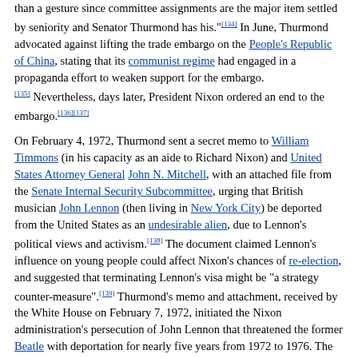than a gesture since committee assignments are the major item settled by seniority and Senator Thurmond has his.[134] In June, Thurmond advocated against lifting the trade embargo on the People's Republic of China, stating that its communist regime had engaged in a propaganda effort to weaken support for the embargo.[135] Nevertheless, days later, President Nixon ordered an end to the embargo.[136][137]

On February 4, 1972, Thurmond sent a secret memo to William Timmons (in his capacity as an aide to Richard Nixon) and United States Attorney General John N. Mitchell, with an attached file from the Senate Internal Security Subcommittee, urging that British musician John Lennon (then living in New York City) be deported from the United States as an undesirable alien, due to Lennon's political views and activism.[138] The document claimed Lennon's influence on young people could affect Nixon's chances of re-election, and suggested that terminating Lennon's visa might be "a strategy counter-measure".[139] Thurmond's memo and attachment, received by the White House on February 7, 1972, initiated the Nixon administration's persecution of John Lennon that threatened the former Beatle with deportation for nearly five years from 1972 to 1976. The documents were discovered in the FBI files after a Freedom of Information Act search by Professor Jon Wiener, and published in Weiner's book Gimme Some Truth: